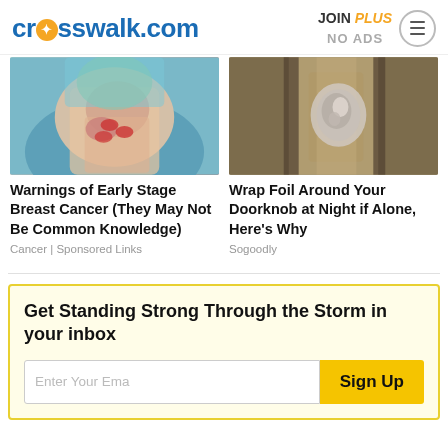crosswalk.com | JOIN PLUS NO ADS
[Figure (photo): Photo of a woman in teal shirt scratching her chest/skin with red nails]
Warnings of Early Stage Breast Cancer (They May Not Be Common Knowledge)
Cancer | Sponsored Links
[Figure (photo): Photo of a door knob wrapped in aluminum foil]
Wrap Foil Around Your Doorknob at Night if Alone, Here's Why
Sogoodly
Get Standing Strong Through the Storm in your inbox
Enter Your Email | Sign Up